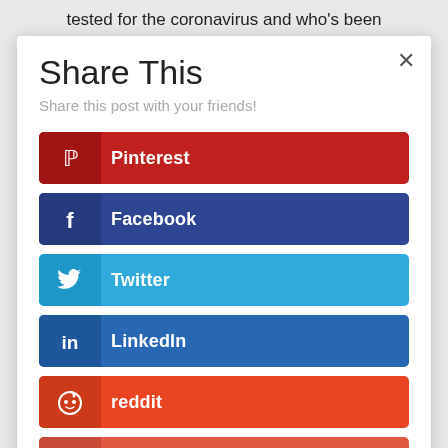tested for the coronavirus and who's been
Share This
Share this post with your friends!
Pinterest
Facebook
Twitter
LinkedIn
reddit
Like
the skin, they leave the encapsulated